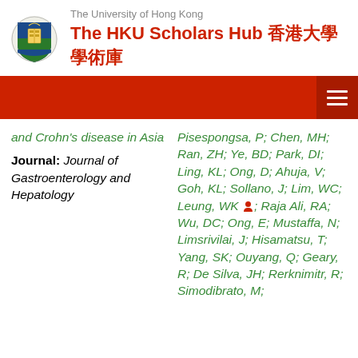The University of Hong Kong — The HKU Scholars Hub 香港大學學術庫
and Crohn's disease in Asia
Journal: Journal of Gastroenterology and Hepatology
Pisespongsa, P; Chen, MH; Ran, ZH; Ye, BD; Park, DI; Ling, KL; Ong, D; Ahuja, V; Goh, KL; Sollano, J; Lim, WC; Leung, WK; Raja Ali, RA; Wu, DC; Ong, E; Mustaffa, N; Limsrivilai, J; Hisamatsu, T; Yang, SK; Ouyang, Q; Geary, R; De Silva, JH; Rerknimitr, R; Simodibrato, M;